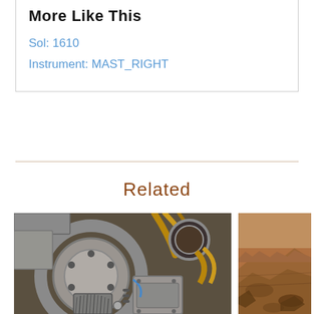More Like This
Sol: 1610
Instrument: MAST_RIGHT
Related
[Figure (photo): Close-up photo of Mars rover drill/arm mechanism with metallic components, wire brush, circular parts, copper-colored tubes and connectors]
[Figure (photo): Partial photo of Mars surface terrain, reddish-brown rocky landscape]